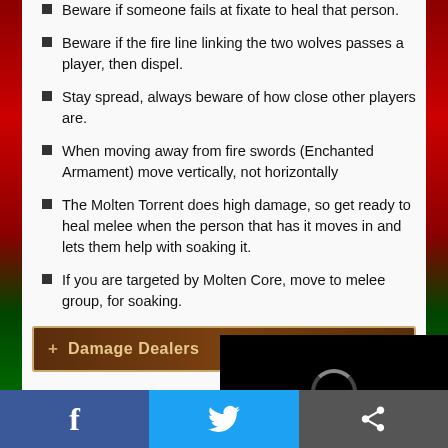Beware if someone fails at fixate to heal that person.
Beware if the fire line linking the two wolves passes a player, then dispel.
Stay spread, always beware of how close other players are.
When moving away from fire swords (Enchanted Armament) move vertically, not horizontally
The Molten Torrent does high damage, so get ready to heal melee when the person that has it moves in and lets them help with soaking it.
If you are targeted by Molten Core, move to melee group, for soaking.
+ Damage Dealers
If fixated, kite the wolf between ranged and melee. So the fire line linking the two wolves does...
Stay spread, always beware of how...